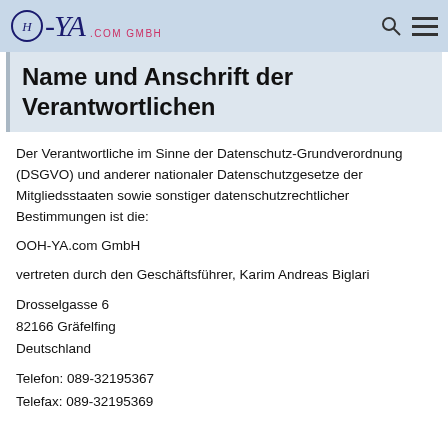O-YA .com GmbH
Name und Anschrift der Verantwortlichen
Der Verantwortliche im Sinne der Datenschutz-Grundverordnung (DSGVO) und anderer nationaler Datenschutzgesetze der Mitgliedsstaaten sowie sonstiger datenschutzrechtlicher Bestimmungen ist die:
OOH-YA.com GmbH
vertreten durch den Geschäftsführer, Karim Andreas Biglari
Drosselgasse 6
82166 Gräfelfing
Deutschland
Telefon: 089-32195367
Telefax: 089-32195369